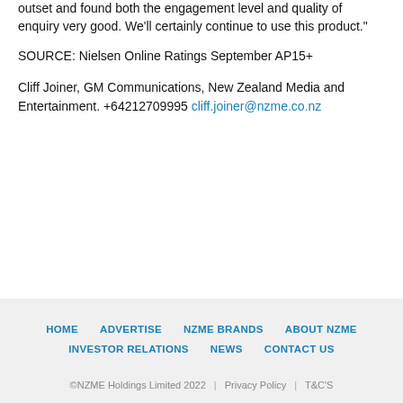outset and found both the engagement level and quality of enquiry very good. We'll certainly continue to use this product."
SOURCE: Nielsen Online Ratings September AP15+
Cliff Joiner, GM Communications, New Zealand Media and Entertainment. +64212709995 cliff.joiner@nzme.co.nz
HOME  ADVERTISE  NZME BRANDS  ABOUT NZME  INVESTOR RELATIONS  NEWS  CONTACT US  ©NZME Holdings Limited 2022 | Privacy Policy | T&C'S